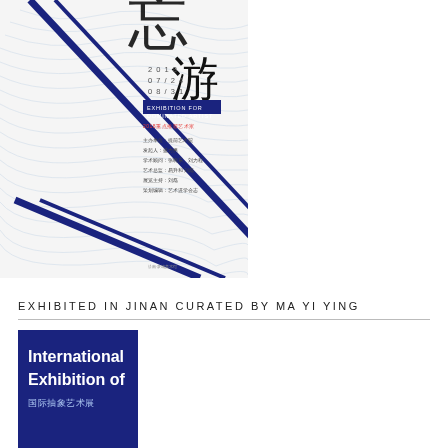[Figure (illustration): Exhibition poster with Chinese characters, diagonal dark blue/navy lines over white wavy topographic line pattern. Text includes '忘游', dates '2018 07/24 08/31', 'EXHIBITION FOR DOMINATED ARTIST', and Chinese credits.]
EXHIBITED IN JINAN CURATED BY MA YI YING
[Figure (logo): Blue rectangle logo reading 'International Exhibition of' with Chinese text '国际抽象艺术展' below, dark blue background with white text.]